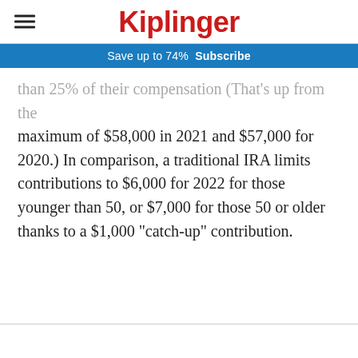Kiplinger
Save up to 74%  Subscribe
than 25% of their compensation (That's up from the maximum of $58,000 in 2021 and $57,000 for 2020.) In comparison, a traditional IRA limits contributions to $6,000 for 2022 for those younger than 50, or $7,000 for those 50 or older thanks to a $1,000 "catch-up" contribution.